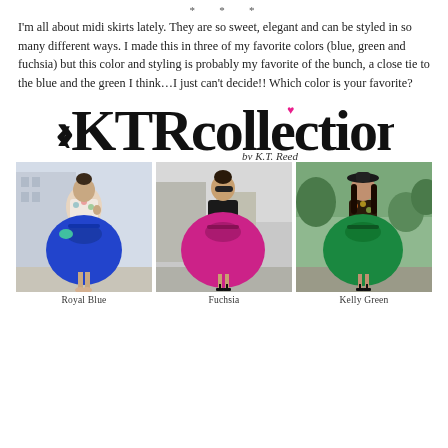* * *
I'm all about midi skirts lately. They are so sweet, elegant and can be styled in so many different ways. I made this in three of my favorite colors (blue, green and fuchsia) but this color and styling is probably my favorite of the bunch, a close tie to the blue and the green I think…I just can't decide!! Which color is your favorite?
[Figure (logo): KTRcollection by K.T. Reed logo in large serif/sans-serif mixed typography]
[Figure (photo): Three fashion photos side by side showing women wearing midi skirts: Royal Blue, Fuchsia, and Kelly Green]
Royal Blue    Fuchsia    Kelly Green